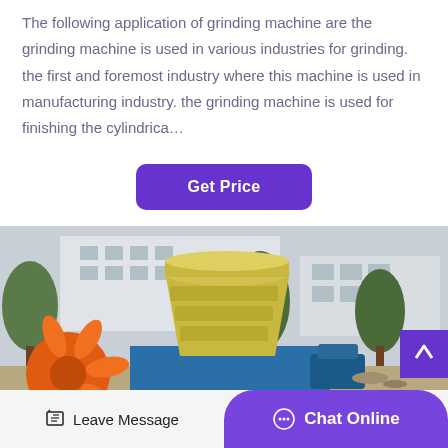The following application of grinding machine are the grinding machine is used in various industries for grinding. the first and foremost industry where this machine is used in manufacturing industry. the grinding machine is used for finishing the cylindrica…
[Figure (other): Button labeled 'Get Price' with purple rounded rectangle background]
[Figure (photo): Outdoor industrial photo of a yellow grinding/shredding machine mounted on a blue base, with an orange fan/blower on the left side and a blue motor on the right, buildings and trees visible in background]
Leave Message
Chat Online